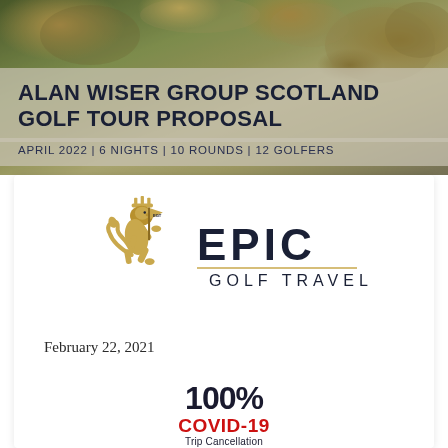[Figure (photo): Rocky and mossy Scottish landscape background photo at the top of the page]
ALAN WISER GROUP SCOTLAND GOLF TOUR PROPOSAL
APRIL 2022 | 6 NIGHTS | 10 ROUNDS | 12 GOLFERS
[Figure (logo): Epic Golf Travel logo featuring a gold lion rampant with crown and flag, beside the text EPIC GOLF TRAVEL in navy]
February 22, 2021
[Figure (infographic): 100% COVID-19 Trip Cancellation PROTECTION badge in black and red]